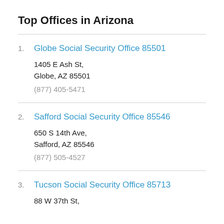Top Offices in Arizona
1. Globe Social Security Office 85501
1405 E Ash St,
Globe, AZ 85501
(877) 405-5471
2. Safford Social Security Office 85546
650 S 14th Ave,
Safford, AZ 85546
(877) 505-4527
3. Tucson Social Security Office 85713
88 W 37th St,